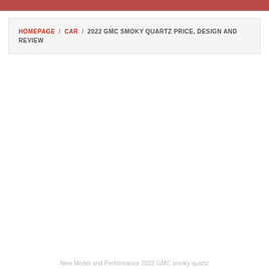HOMEPAGE / CAR / 2022 GMC SMOKY QUARTZ PRICE, DESIGN AND REVIEW
New Model and Performance 2022 GMC smoky quartz